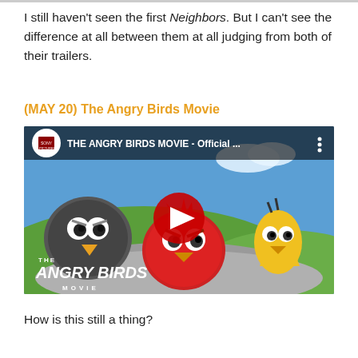I still haven't seen the first Neighbors. But I can't see the difference at all between them at all judging from both of their trailers.
(MAY 20) The Angry Birds Movie
[Figure (screenshot): YouTube video thumbnail for 'THE ANGRY BIRDS MOVIE - Official ...' showing three Angry Birds characters (a black bird, a red bird, and a yellow bird) peeking over a rock, with a YouTube play button overlay and movie logo in the bottom left.]
How is this still a thing?